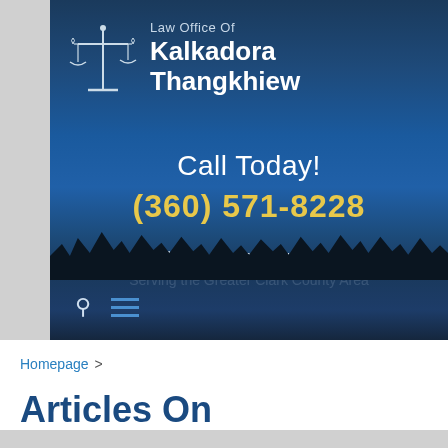[Figure (photo): Law office banner with scales of justice logo and dark blue lake/mountain background. Shows firm name 'Law Office Of Kalkadora Thangkhiew', phone number '(360) 571-8228', and location 'Vancouver, WA'.]
Homepage >
Articles On